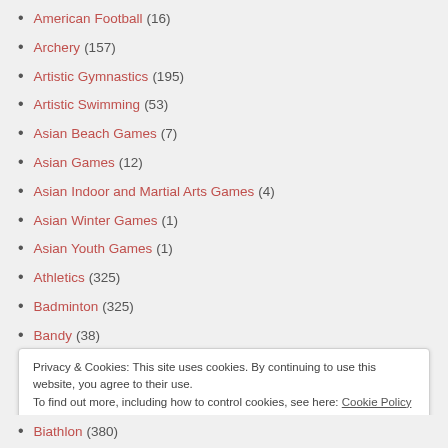American Football (16)
Archery (157)
Artistic Gymnastics (195)
Artistic Swimming (53)
Asian Beach Games (7)
Asian Games (12)
Asian Indoor and Martial Arts Games (4)
Asian Winter Games (1)
Asian Youth Games (1)
Athletics (325)
Badminton (325)
Bandy (38)
Privacy & Cookies: This site uses cookies. By continuing to use this website, you agree to their use. To find out more, including how to control cookies, see here: Cookie Policy
Close and accept
Biathlon (380)